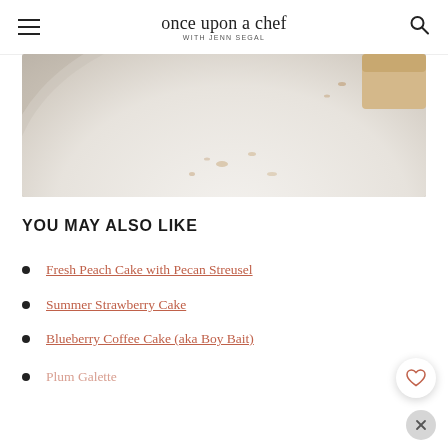once upon a chef WITH JENN SEGAL
[Figure (photo): Close-up photo of a white plate with crumbs and a small piece of baked cake/pastry visible at the top right edge]
YOU MAY ALSO LIKE
Fresh Peach Cake with Pecan Streusel
Summer Strawberry Cake
Blueberry Coffee Cake (aka Boy Bait)
Plum Galette